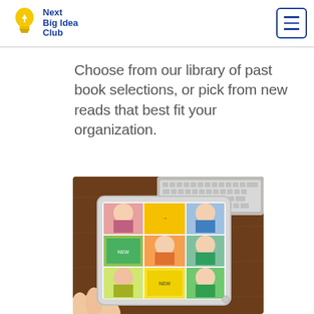[Figure (logo): Next Big Idea Club logo with yellow lightbulb icon and blue text]
Choose from our library of past book selections, or pick from new reads that best fit your organization.
[Figure (photo): Hands holding a tablet displaying the Next Big Idea Club website with book selections and author photos, with a keyboard in the background]